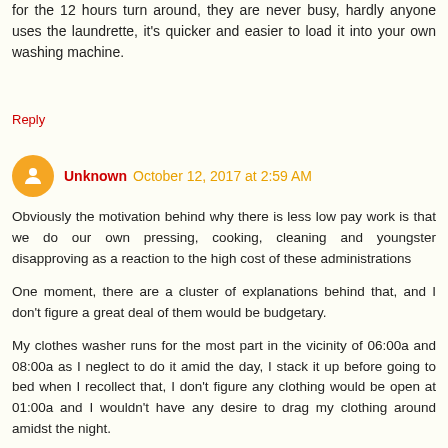for the 12 hours turn around, they are never busy, hardly anyone uses the laundrette, it's quicker and easier to load it into your own washing machine.
Reply
Unknown October 12, 2017 at 2:59 AM
Obviously the motivation behind why there is less low pay work is that we do our own pressing, cooking, cleaning and youngster disapproving as a reaction to the high cost of these administrations
One moment, there are a cluster of explanations behind that, and I don't figure a great deal of them would be budgetary.
My clothes washer runs for the most part in the vicinity of 06:00a and 08:00a as I neglect to do it amid the day, I stack it up before going to bed when I recollect that, I don't figure any clothing would be open at 01:00a and I wouldn't have any desire to drag my clothing around amidst the night.